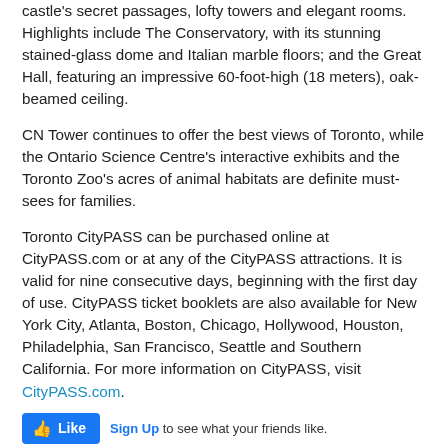castle's secret passages, lofty towers and elegant rooms. Highlights include The Conservatory, with its stunning stained-glass dome and Italian marble floors; and the Great Hall, featuring an impressive 60-foot-high (18 meters), oak-beamed ceiling.
CN Tower continues to offer the best views of Toronto, while the Ontario Science Centre's interactive exhibits and the Toronto Zoo's acres of animal habitats are definite must-sees for families.
Toronto CityPASS can be purchased online at CityPASS.com or at any of the CityPASS attractions. It is valid for nine consecutive days, beginning with the first day of use. CityPASS ticket booklets are also available for New York City, Atlanta, Boston, Chicago, Hollywood, Houston, Philadelphia, San Francisco, Seattle and Southern California. For more information on CityPASS, visit CityPASS.com.
[Figure (other): Facebook Like widget with Like button and 'Sign Up to see what your friends like.' text]